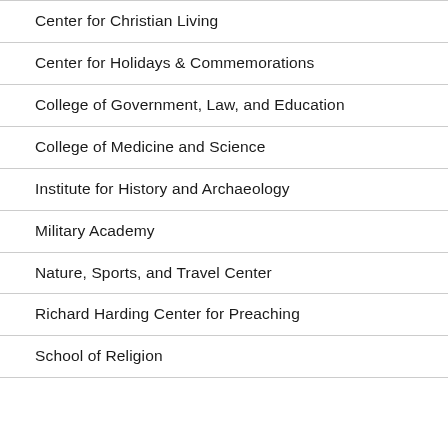Center for Christian Living
Center for Holidays & Commemorations
College of Government, Law, and Education
College of Medicine and Science
Institute for History and Archaeology
Military Academy
Nature, Sports, and Travel Center
Richard Harding Center for Preaching
School of Religion